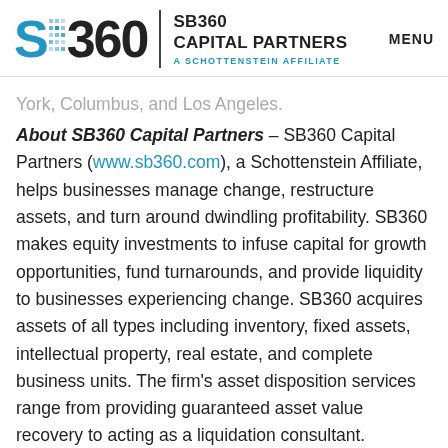SB360 CAPITAL PARTNERS | A SCHOTTENSTEIN AFFILIATE | MENU
York, Columbus, and Los Angeles.
About SB360 Capital Partners – SB360 Capital Partners (www.sb360.com), a Schottenstein Affiliate, helps businesses manage change, restructure assets, and turn around dwindling profitability. SB360 makes equity investments to infuse capital for growth opportunities, fund turnarounds, and provide liquidity to businesses experiencing change. SB360 acquires assets of all types including inventory, fixed assets, intellectual property, real estate, and complete business units. The firm's asset disposition services range from providing guaranteed asset value recovery to acting as a liquidation consultant. Additionally, SB360 has entities engaged in real estate advisory and commercial real estate investment. A lending affiliate, Second Avenue Capital Partners, provides asset-